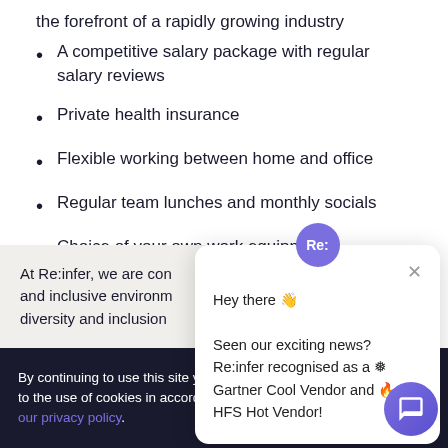the forefront of a rapidly growing industry
A competitive salary package with regular salary reviews
Private health insurance
Flexible working between home and office
Regular team lunches and monthly socials
Choice of your own work equipment
At Re:infer, we are con... and inclusive environm... diversity and inclusion...
[Figure (screenshot): Chat popup widget with Re: badge showing message: Hey there 👋 Seen our exciting news? Re:infer recognised as a ❄ Gartner Cool Vendor and 🔥 HFS Hot Vendor!]
By continuing to use this site you consent to the use of cookies in accordance with our privacy policy.